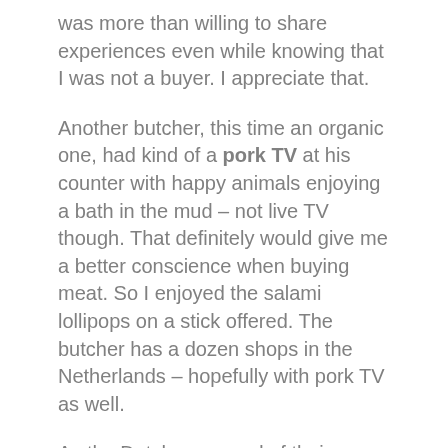was more than willing to share experiences even while knowing that I was not a buyer. I appreciate that.
Another butcher, this time an organic one, had kind of a pork TV at his counter with happy animals enjoying a bath in the mud – not live TV though. That definitely would give me a better conscience when buying meat. So I enjoyed the salami lollipops on a stick offered. The butcher has a dozen shops in the Netherlands – hopefully with pork TV as well.
As the Dutch are proud of their cheese with a good reason, some stalls catered for it. The choice was considerable, not very artisan, but perfect for tourists including myself. Getting blue, green and red coloured, flavoured cheese was worth a trial and for transport it is nicely vacuumed with a smile.
The spice and the nut stalls were very generous in